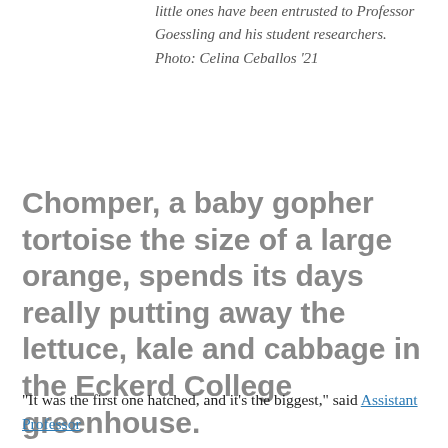little ones have been entrusted to Professor Goessling and his student researchers. Photo: Celina Ceballos '21
Chomper, a baby gopher tortoise the size of a large orange, spends its days really putting away the lettuce, kale and cabbage in the Eckerd College greenhouse.
“It was the first one hatched, and it’s the biggest,” said Assistant Professor